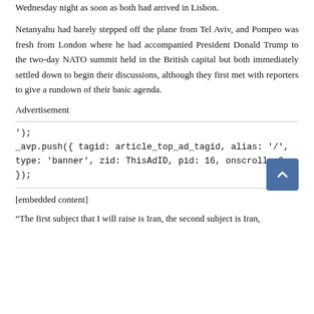Wednesday night as soon as both had arrived in Lisbon.
Netanyahu had barely stepped off the plane from Tel Aviv, and Pompeo was fresh from London where he had accompanied President Donald Trump to the two-day NATO summit held in the British capital but both immediately settled down to begin their discussions, although they first met with reporters to give a rundown of their basic agenda.
Advertisement
');
_avp.push({ tagid: article_top_ad_tagid, alias: '/', type: 'banner', zid: ThisAdID, pid: 16, onscroll: 0 });
[embedded content]
“The first subject that I will raise is Iran, the second subject is Iran,